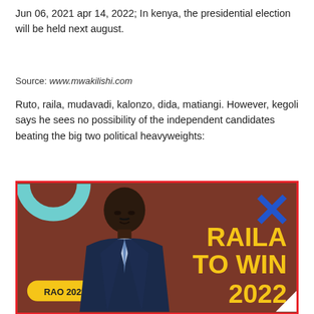Jun 06, 2021 apr 14, 2022; In kenya, the presidential election will be held next august.
Source: www.mwakilishi.com
Ruto, raila, mudavadi, kalonzo, dida, matiangi. However, kegoli says he sees no possibility of the independent candidates beating the big two political heavyweights:
[Figure (photo): Promotional political image with brown background showing a man in a blue suit with text 'RAILA TO WIN 2022' in yellow, 'RAO 2022' badge, blue X mark, and teal arc decoration. Red border around the image.]